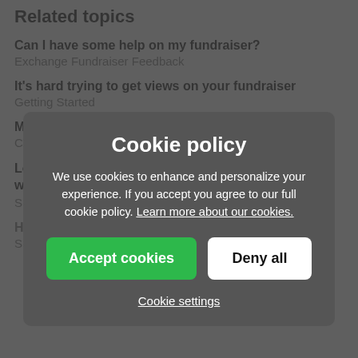Related topics
Can I have some help on my fundraiser?
Exchange Fundraiser Feedback
It's hard trying to get views on your fundraiser
Getting Started
My grandpa's funeral is tomorrow
Coffee Talk
Looking for advice on how to raise funds for friends who need assistance with expenses
Sharing Techniques
How to post my fundraiser on GoFundMe?
Sharing Techniques
Cookie policy
We use cookies to enhance and personalize your experience. If you accept you agree to our full cookie policy. Learn more about our cookies.
Accept cookies | Deny all
Cookie settings